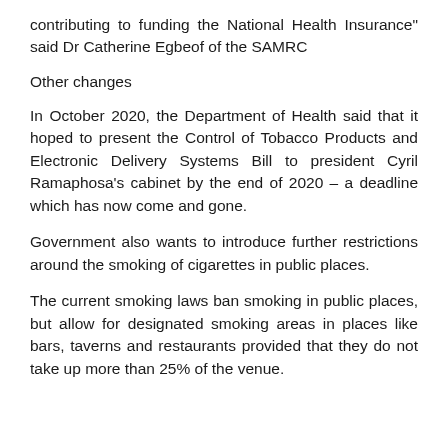contributing to funding the National Health Insurance" said Dr Catherine Egbeof of the SAMRC
Other changes
In October 2020, the Department of Health said that it hoped to present the Control of Tobacco Products and Electronic Delivery Systems Bill to president Cyril Ramaphosa's cabinet by the end of 2020 – a deadline which has now come and gone.
Government also wants to introduce further restrictions around the smoking of cigarettes in public places.
The current smoking laws ban smoking in public places, but allow for designated smoking areas in places like bars, taverns and restaurants provided that they do not take up more than 25% of the venue.